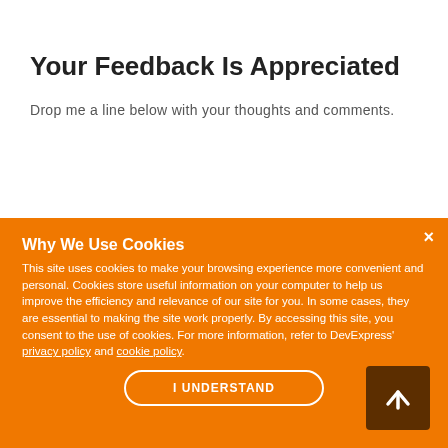Your Feedback Is Appreciated
Drop me a line below with your thoughts and comments.
Why We Use Cookies
This site uses cookies to make your browsing experience more convenient and personal. Cookies store useful information on your computer to help us improve the efficiency and relevance of our site for you. In some cases, they are essential to making the site work properly. By accessing this site, you consent to the use of cookies. For more information, refer to DevExpress' privacy policy and cookie policy.